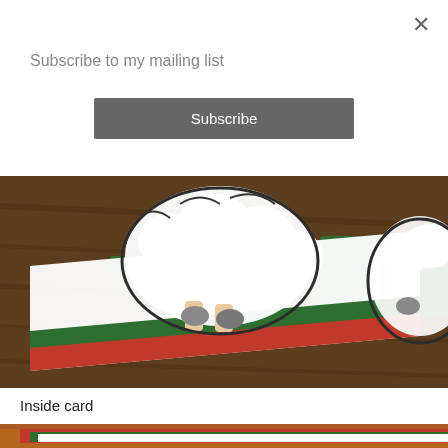×
Subscribe to my mailing list
Subscribe
[Figure (photo): Close-up photo of Christmas-themed stickers and cards on a wooden surface. Stickers appear to be sheep or animal figures with decorative black-and-white detail, placed over a card with red and green stripes on a dark wood background.]
Inside card
[Figure (photo): Bottom portion of an inside card photo showing a cork/brown textured background with a red and green bordered card, white interior, and partial letter visible at bottom right.]